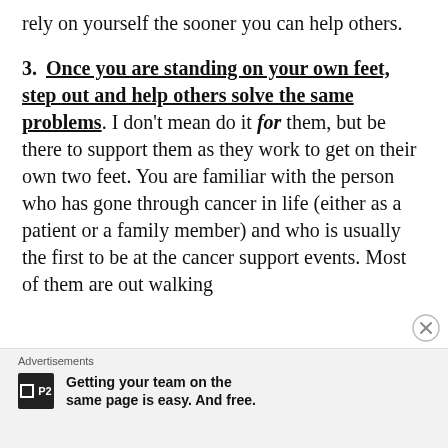rely on yourself the sooner you can help others.
3. Once you are standing on your own feet, step out and help others solve the same problems. I don't mean do it for them, but be there to support them as they work to get on their own two feet. You are familiar with the person who has gone through cancer in life (either as a patient or a family member) and who is usually the first to be at the cancer support events. Most of them are out walking
[partially visible text cut off]
Advertisements — Getting your team on the same page is easy. And free.